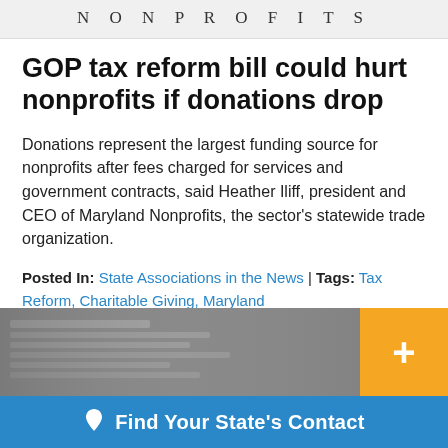NONPROFITS
GOP tax reform bill could hurt nonprofits if donations drop
Donations represent the largest funding source for nonprofits after fees charged for services and government contracts, said Heather Iliff, president and CEO of Maryland Nonprofits, the sector's statewide trade organization.
Posted In: State Associations in the News | Tags: Tax Reform, Charitable Giving, Maryland
[Figure (photo): Newspaper pages folded and stacked, black and white photo]
Find Your State's Contact